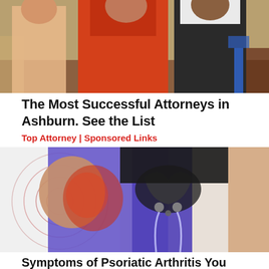[Figure (photo): Photo of people standing, woman in red/orange dress and man in dark suit, indoor setting]
The Most Successful Attorneys in Ashburn. See the List
Top Attorney | Sponsored Links
[Figure (photo): Medical illustration showing hip/pelvis joint pain with person wearing blue leggings, inflammation highlighted in red with concentric circles]
Symptoms of Psoriatic Arthritis You May Wish